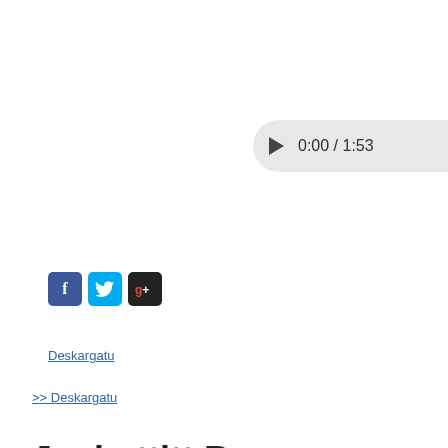[Figure (screenshot): Audio player control showing play button and time 0:00 / 1:53]
[Figure (other): Social media sharing icons: Facebook (blue), Twitter (cyan), Google+ (multicolor)]
Deskargatu
>> Deskargatu
Janbattitt Barennes
2010-11-23   Gure arbasoak (Ahapetik)
[Figure (photo): Landscape photo of green hills with buildings, framed in blue border]
Aiherrako Janbattitt Barennes da Matti